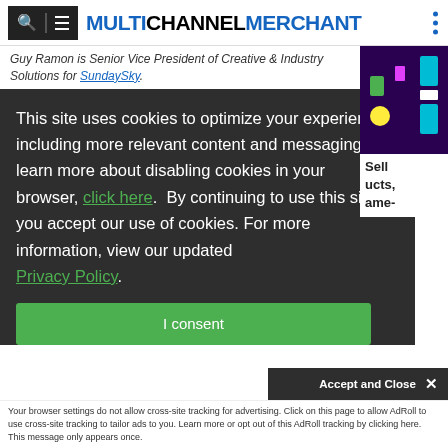MULTICHANNEL MERCHANT
Guy Ramon is Senior Vice President of Creative & Industry Solutions for SundaySky.
This site uses cookies to optimize your experience including more relevant content and messaging. To learn more about disabling cookies in your browser, click here. By continuing to use this site, you accept our use of cookies. For more information, view our updated Privacy Policy.
I consent
Sell ucts, ame-
Accept and Close ✕
Your browser settings do not allow cross-site tracking for advertising. Click on this page to allow AdRoll to use cross-site tracking to tailor ads to you. Learn more or opt out of this AdRoll tracking by clicking here. This message only appears once.